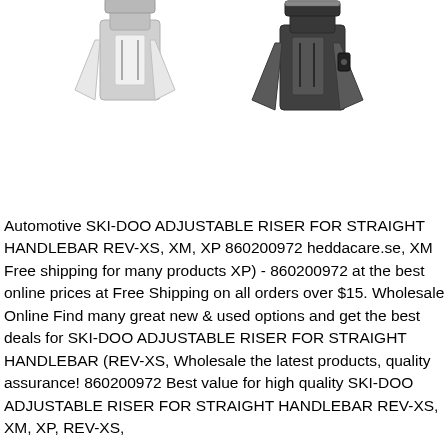[Figure (photo): Two adjustable handlebar risers for snowmobile — one white/silver on the left and one black/dark on the right — photographed against a white background]
Automotive SKI-DOO ADJUSTABLE RISER FOR STRAIGHT HANDLEBAR REV-XS, XM, XP 860200972 heddacare.se, XM Free shipping for many products XP) - 860200972 at the best online prices at Free Shipping on all orders over $15. Wholesale Online Find many great new & used options and get the best deals for SKI-DOO ADJUSTABLE RISER FOR STRAIGHT HANDLEBAR (REV-XS, Wholesale the latest products, quality assurance! 860200972 Best value for high quality SKI-DOO ADJUSTABLE RISER FOR STRAIGHT HANDLEBAR REV-XS, XM, XP, REV-XS,